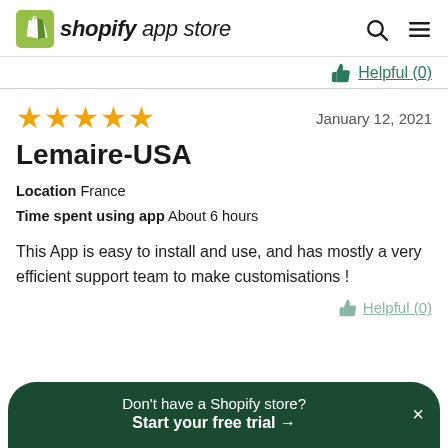shopify app store
Helpful (0)
[Figure (other): Five yellow star rating]
January 12, 2021
Lemaire-USA
Location  France
Time spent using app  About 6 hours
This App is easy to install and use, and has mostly a very efficient support team to make customisations !
Don't have a Shopify store? Start your free trial →